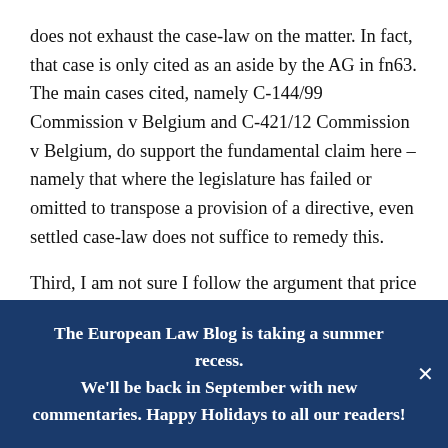does not exhaust the case-law on the matter. In fact, that case is only cited as an aside by the AG in fn63. The main cases cited, namely C-144/99 Commission v Belgium and C-421/12 Commission v Belgium, do support the fundamental claim here – namely that where the legislature has failed or omitted to transpose a provision of a directive, even settled case-law does not suffice to remedy this.
Third, I am not sure I follow the argument that price controls of any sort are per se incompatible with a
The European Law Blog is taking a summer recess. We'll be back in September with new commentaries. Happy Holidays to all our readers!